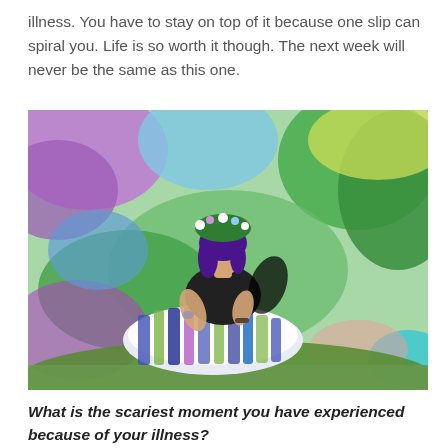illness. You have to stay on top of it because one slip can spiral you. Life is so worth it though. The next week will never be the same as this one.
[Figure (photo): A woman dressed in a fantasy/fairy costume with a floral crown, wearing a colorful blue and white tutu skirt, sitting in a vibrant, colorfully enhanced garden setting with purple, blue, and green hues.]
What is the scariest moment you have experienced because of your illness?